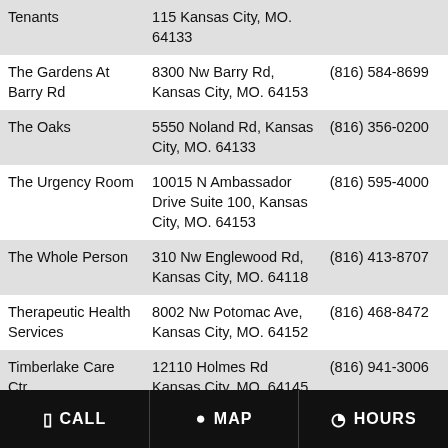| Name | Address | Phone |
| --- | --- | --- |
| Tenants | 115 Kansas City, MO. 64133 |  |
| The Gardens At Barry Rd | 8300 Nw Barry Rd, Kansas City, MO. 64153 | (816) 584-8699 |
| The Oaks | 5550 Noland Rd, Kansas City, MO. 64133 | (816) 356-0200 |
| The Urgency Room | 10015 N Ambassador Drive Suite 100, Kansas City, MO. 64153 | (816) 595-4000 |
| The Whole Person | 310 Nw Englewood Rd, Kansas City, MO. 64118 | (816) 413-8707 |
| Therapeutic Health Services | 8002 Nw Potomac Ave, Kansas City, MO. 64152 | (816) 468-8472 |
| Timberlake Care Ctr | 12110 Holmes Rd Kansas City, MO. 64145 | (816) 941-3006 |
| Tmc Behavioral Health | 2211 Charlotte St Kansas City, MO. 64108 | (816) 467-1400 |
| Transitions | 501 W 107th St Kansas City, MO. 64114 | (816) 943-1400 |
| Tri County Mental | 5866 No Russell Rd, Kansas... | (816) 777-3555 |
CALL   MAP   HOURS